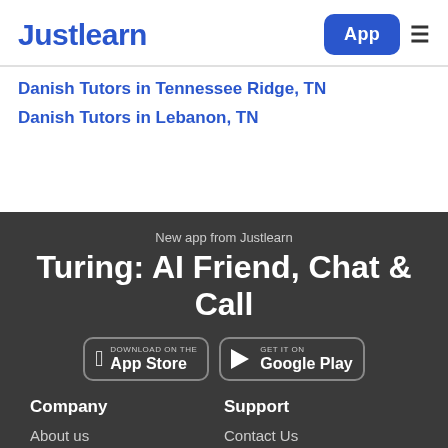Justlearn | App
Danish Tutors in Tennessee Ridge, TN
Danish Tutors in Lebanon, TN
New app from Justlearn
Turing: AI Friend, Chat & Call
[Figure (screenshot): App store download buttons: Download on the App Store and Get it on Google Play]
Company
Support
About us
Contact Us
Press
Help Center